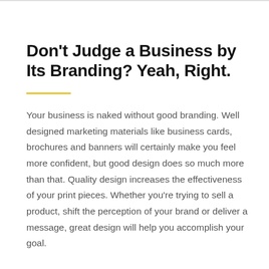Don't Judge a Business by Its Branding? Yeah, Right.
Your business is naked without good branding. Well designed marketing materials like business cards, brochures and banners will certainly make you feel more confident, but good design does so much more than that. Quality design increases the effectiveness of your print pieces. Whether you're trying to sell a product, shift the perception of your brand or deliver a message, great design will help you accomplish your goal.